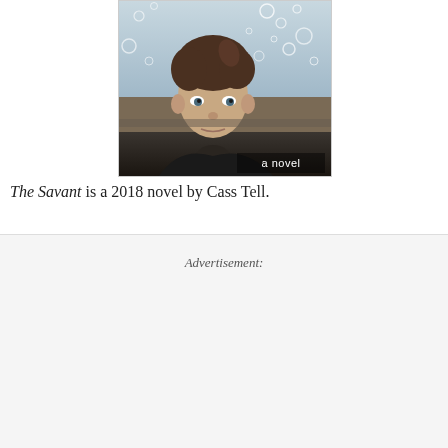[Figure (illustration): Book cover of 'The Savant' showing a young boy's face with bubbles/water droplets in background, with text 'a novel' in bottom right corner]
The Savant is a 2018 novel by Cass Tell.
Advertisement: